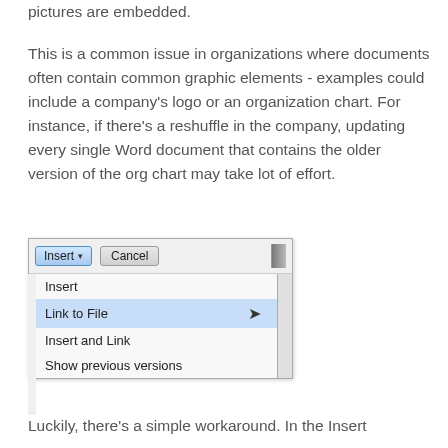pictures are embedded. This is a common issue in organizations where documents often contain common graphic elements - examples could include a company's logo or an organization chart. For instance, if there's a reshuffle in the company, updating every single Word document that contains the older version of the org chart may take lot of effort.
[Figure (screenshot): Screenshot of a Microsoft Word Insert Picture dialog showing a dropdown menu from the Insert button with options: Insert, Link to File (highlighted), Insert and Link, Show previous versions. A Cancel button is also visible along with a scrollbar.]
Luckily, there's a simple workaround. In the Insert